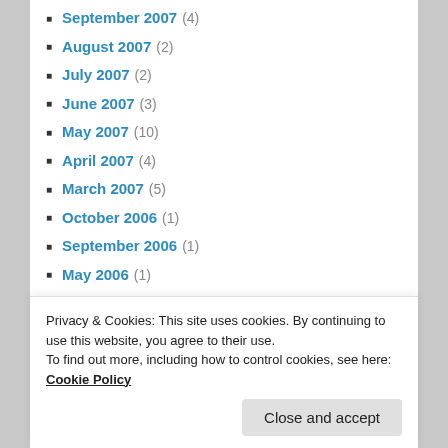September 2007 (4)
August 2007 (2)
July 2007 (2)
June 2007 (3)
May 2007 (10)
April 2007 (4)
March 2007 (5)
October 2006 (1)
September 2006 (1)
May 2006 (1)
March 2006 (2)
January 2006 (4)
November 2005 (1)
October 2005 (1)
September 2005 (2)
Privacy & Cookies: This site uses cookies. By continuing to use this website, you agree to their use. To find out more, including how to control cookies, see here: Cookie Policy